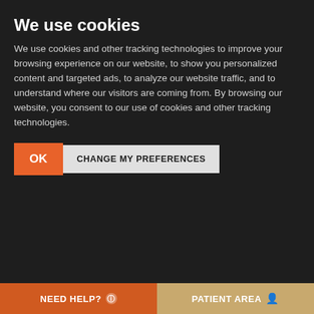We use cookies
We use cookies and other tracking technologies to improve your browsing experience on our website, to show you personalized content and targeted ads, to analyze our website traffic, and to understand where our visitors are coming from. By browsing our website, you consent to our use of cookies and other tracking technologies.
Campus Universidad de Navarra
Technology
Awards and accreditations
Corporate Social Responsibility
PRACTICAL INFORMATION
Location in Madrid
NEED HELP?    PATIENT AREA